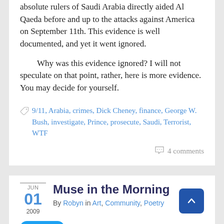absolute rulers of Saudi Arabia directly aided Al Qaeda before and up to the attacks against America on September 11th. This evidence is well documented, and yet it went ignored.
Why was this evidence ignored? I will not speculate on that point, rather, here is more evidence. You may decide for yourself.
9/11, Arabia, crimes, Dick Cheney, finance, George W. Bush, investigate, Prince, prosecute, Saudi, Terrorist, WTF
4 comments
JUN 01 2009
Muse in the Morning
By Robyn in Art, Community, Poetry
Tweet